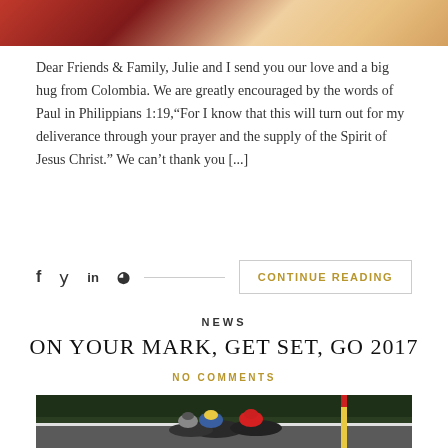[Figure (photo): Top portion of a photo showing a person, cropped at top of page]
Dear Friends & Family, Julie and I send you our love and a big hug from Colombia. We are greatly encouraged by the words of Paul in Philippians 1:19,"For I know that this will turn out for my deliverance through your prayer and the supply of the Spirit of Jesus Christ." We can't thank you [...]
f  y  in  @ [social share icons with CONTINUE READING button]
NEWS
ON YOUR MARK, GET SET, GO 2017
NO COMMENTS
[Figure (photo): Horse racing photo showing jockeys racing on horses at a track with green trees in background and a yellow/red pole visible]